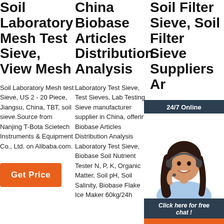Soil Laboratory Mesh Test Sieve, View Mesh
Soil Laboratory Mesh test Sieve, US 2 - 20 Piece, Jiangsu, China, TBT, soil sieve.Source from Nanjing T-Bota Scietech Instruments & Equipment Co., Ltd. on Alibaba.com.
[Figure (other): Orange 'Get Price' button]
China Biobase Articles Distribution Analysis
Laboratory Test Sieve, Test Sieves, Lab Testing Sieve manufacturer supplier in China, offering Biobase Articles Distribution Analysis Laboratory Test Sieve, Biobase Soil Nutrient Tester N, P, K, Organic Matter, Soil pH, Soil Salinity, Biobase Flake Ice Maker 60kg/24h
Soil Filter Sieve, Soil Filter Sieve Suppliers Ar
soil sieve Wholesale, High quality soil sieve Global Suppliers Tripod Soil Sieve Suppliers soil sieve Factory,Importer,Export at ...
[Figure (other): Chat widget overlay with woman wearing headset, '24/7 Online' header, 'Click here for free chat!' call to action, and orange QUOTATION button]
[Figure (other): Orange TOP badge with dots]
[Figure (other): Orange 'Get Price' button]